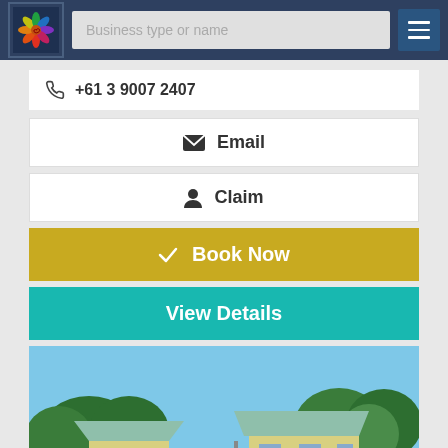Business type or name
+61 3 9007 2407
Email
Claim
Book Now
View Details
[Figure (photo): Exterior view of residential or holiday park cabins with light yellow/cream walls, green metal roofs, surrounded by trees under a clear blue sky.]